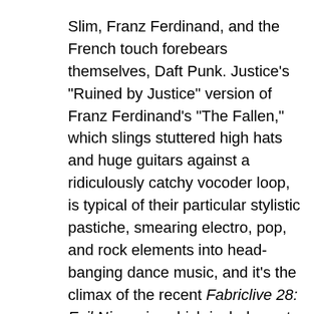Slim, Franz Ferdinand, and the French touch forebears themselves, Daft Punk. Justice's "Ruined by Justice" version of Franz Ferdinand's "The Fallen," which slings stuttered high hats and huge guitars against a ridiculously catchy vocoder loop, is typical of their particular stylistic pastiche, smearing electro, pop, and rock elements into head-banging dance music, and it's the climax of the recent Fabriclive 28: Evil Nine mix, which includes cuts from soul mates such as Digitalism and Simian Mobile Disco.
No remixes have emerged in the past year while Justice have been working on their full-length, due this June. The move points to a keen awareness of pop machinations that belies de Rougeolffe himself, he continues...